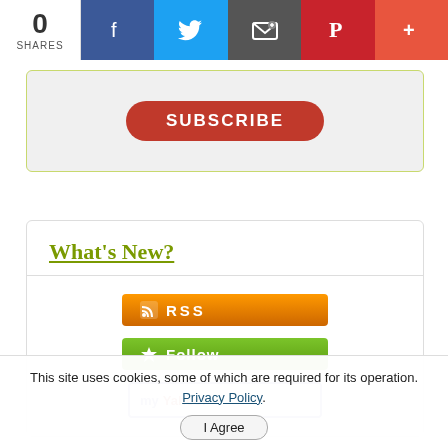[Figure (screenshot): Social share bar with count 0 SHARES, Facebook, Twitter, Email, Pinterest, and More (+) buttons]
[Figure (screenshot): Gray rounded box with red SUBSCRIBE button]
What's New?
[Figure (screenshot): Orange RSS feed button]
[Figure (screenshot): Green Follow button]
[Figure (screenshot): My Yahoo button (partially visible)]
This site uses cookies, some of which are required for its operation. Privacy Policy.
I Agree